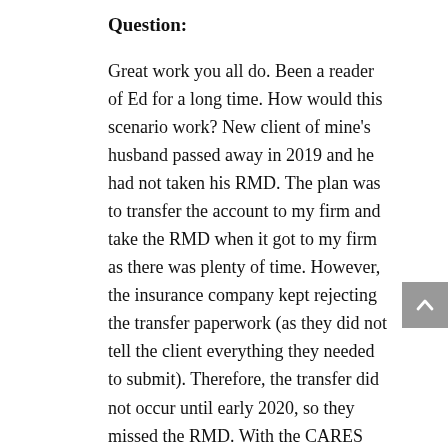Question:
Great work you all do. Been a reader of Ed for a long time. How would this scenario work? New client of mine's husband passed away in 2019 and he had not taken his RMD. The plan was to transfer the account to my firm and take the RMD when it got to my firm as there was plenty of time. However, the insurance company kept rejecting the transfer paperwork (as they did not tell the client everything they needed to submit). Therefore, the transfer did not occur until early 2020, so they missed the RMD. With the CARES Act, does this mean that the 2019 RMD would be waived??
Kyle
Answer: